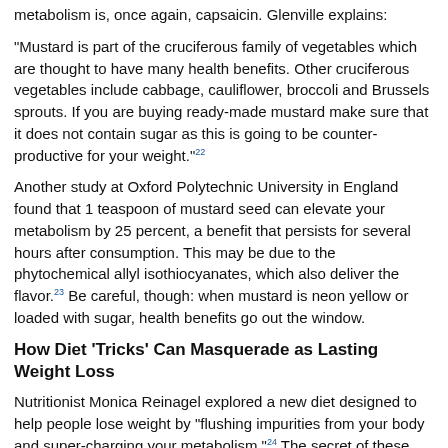metabolism is, once again, capsaicin. Glenville explains:
“Mustard is part of the cruciferous family of vegetables which are thought to have many health benefits. Other cruciferous vegetables include cabbage, cauliflower, broccoli and Brussels sprouts. If you are buying ready-made mustard make sure that it does not contain sugar as this is going to be counter-productive for your weight.”²²
Another study at Oxford Polytechnic University in England found that 1 teaspoon of mustard seed can elevate your metabolism by 25 percent, a benefit that persists for several hours after consumption. This may be due to the phytochemical allyl isothiocyanates, which also deliver the flavor.²³ Be careful, though: when mustard is neon yellow or loaded with sugar, health benefits go out the window.
How Diet ‘Tricks’ Can Masquerade as Lasting Weight Loss
Nutritionist Monica Reinagel explored a new diet designed to help people lose weight by “flushing impurities from your body and super-charging your metabolism.”²⁴ The secret of these weight loss benefits were said to be spices like coriander,